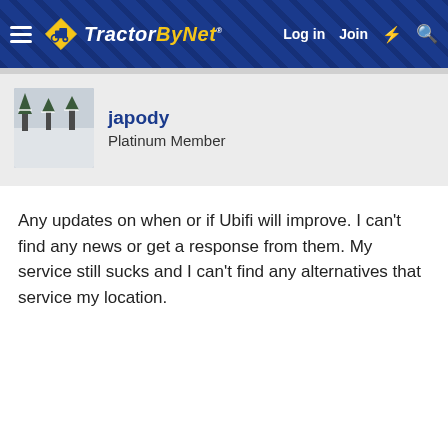TractorByNet — Log in  Join
[Figure (screenshot): User avatar: small grayscale photo of a snowy winter scene with trees]
japody
Platinum Member
Any updates on when or if Ubifi will improve. I can't find any news or get a response from them. My service still sucks and I can't find any alternatives that service my location.